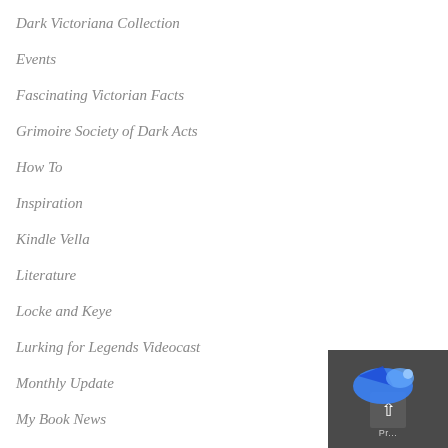Dark Victoriana Collection
Events
Fascinating Victorian Facts
Grimoire Society of Dark Acts
How To
Inspiration
Kindle Vella
Literature
Locke and Keye
Lurking for Legends Videocast
Monthly Update
My Book News
NaNoWriMo